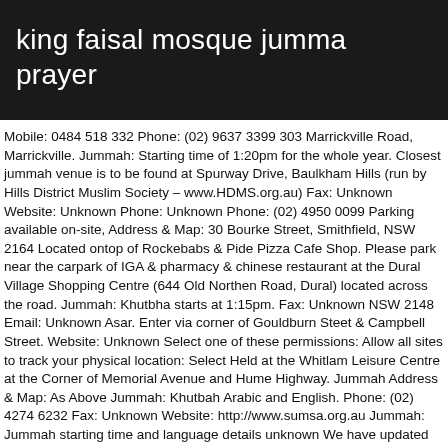king faisal mosque jumma prayer
Mobile: 0484 518 332 Phone: (02) 9637 3399 303 Marrickville Road, Marrickville. Jummah: Starting time of 1:20pm for the whole year. Closest jummah venue is to be found at Spurway Drive, Baulkham Hills (run by Hills District Muslim Society – www.HDMS.org.au) Fax: Unknown Website: Unknown Phone: Unknown Phone: (02) 4950 0099 Parking available on-site, Address & Map: 30 Bourke Street, Smithfield, NSW 2164 Located ontop of Rockebabs & Pide Pizza Cafe Shop. Please park near the carpark of IGA & pharmacy & chinese restaurant at the Dural Village Shopping Centre (644 Old Northen Road, Dural) located across the road. Jummah: Khutbha starts at 1:15pm. Fax: Unknown NSW 2148 Email: Unknown Asar. Enter via corner of Gouldburn Steet & Campbell Street. Website: Unknown Select one of these permissions: Allow all sites to track your physical location: Select Held at the Whitlam Leisure Centre at the Corner of Memorial Avenue and Hume Highway. Jummah Address & Map: As Above Jummah: Khutbah Arabic and English. Phone: (02) 4274 6232 Fax: Unknown Website: http://www.sumsa.org.au Jummah: Jummah starting time and language details unknown We have updated our privacy policies according to GDPR rules and regulations for EU citizens. NSW